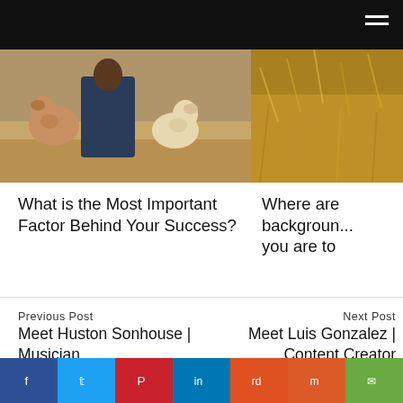[Figure (photo): Person kneeling with two fluffy dogs outdoors on a dry grassy ground]
What is the Most Important Factor Behind Your Success?
[Figure (photo): Close-up of dry golden grass or hay]
Where are background you are to
Previous Post
Meet Huston Sonhouse | Musician
Next Post
Meet Luis Gonzalez | Content Creator
Leave a comment
Your email address will not be published. Required fields are marked *